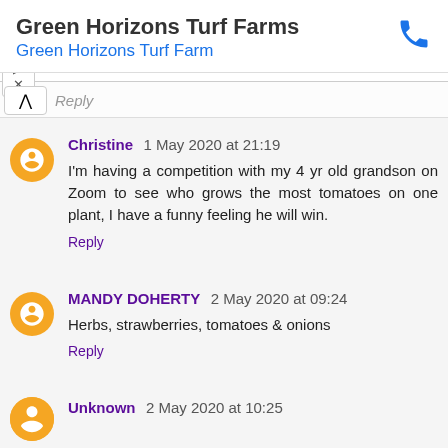[Figure (screenshot): Ad banner for Green Horizons Turf Farms with phone icon, showing title 'Green Horizons Turf Farms' and subtitle 'Green Horizons Turf Farm']
Reply
Christine 1 May 2020 at 21:19
I'm having a competition with my 4 yr old grandson on Zoom to see who grows the most tomatoes on one plant, I have a funny feeling he will win.
Reply
MANDY DOHERTY 2 May 2020 at 09:24
Herbs, strawberries, tomatoes & onions
Reply
Unknown 2 May 2020 at 10:25